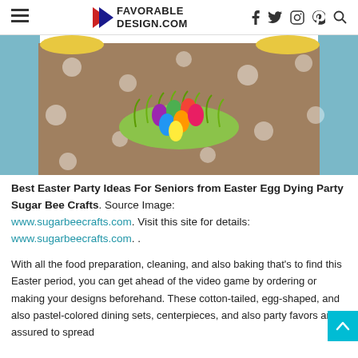FAVORABLE DESIGN.COM
[Figure (photo): Easter party table with brown polka-dot tablecloth and green grass nest filled with colorful plastic Easter eggs in the center]
Best Easter Party Ideas For Seniors from Easter Egg Dying Party Sugar Bee Crafts. Source Image: www.sugarbeecrafts.com. Visit this site for details: www.sugarbeecrafts.com. .
With all the food preparation, cleaning, and also baking that's to find this Easter period, you can get ahead of the video game by ordering or making your designs beforehand. These cotton-tailed, egg-shaped, and also pastel-colored dining sets, centerpieces, and also party favors are assured to spread